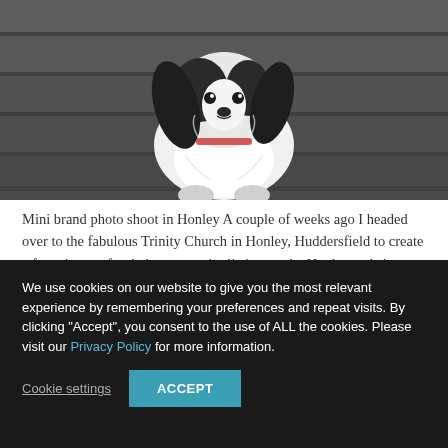[Figure (photo): A fluffy black and white dog sitting on stone steps, photographed from above, looking directly at camera.]
Mini brand photo shoot in Honley A couple of weeks ago I headed over to the fabulous Trinity Church in Honley, Huddersfield to create a few pictures for their community listing on the Honley website. Having read the fantastic copy that Jeanette from Copy Write had written I knew what kind of pictures I required....
We use cookies on our website to give you the most relevant experience by remembering your preferences and repeat visits. By clicking "Accept", you consent to the use of ALL the cookies. Please visit our Privacy Policy for more information.
Cookie settings | ACCEPT